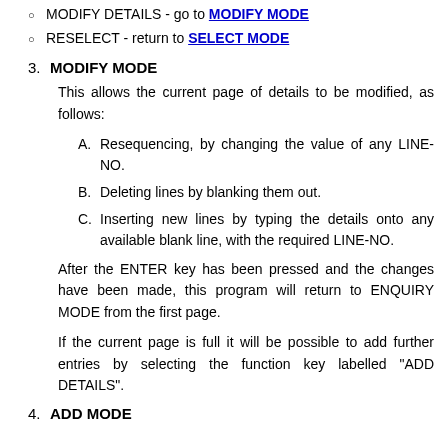MODIFY DETAILS - go to MODIFY MODE
RESELECT - return to SELECT MODE
3. MODIFY MODE
This allows the current page of details to be modified, as follows:
A. Resequencing, by changing the value of any LINE-NO.
B. Deleting lines by blanking them out.
C. Inserting new lines by typing the details onto any available blank line, with the required LINE-NO.
After the ENTER key has been pressed and the changes have been made, this program will return to ENQUIRY MODE from the first page.
If the current page is full it will be possible to add further entries by selecting the function key labelled "ADD DETAILS".
4. ADD MODE